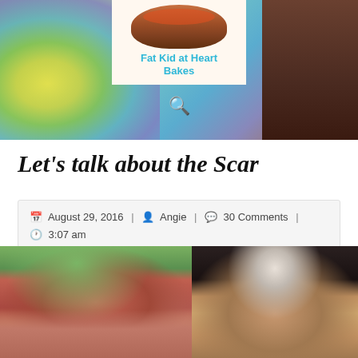[Figure (photo): Blog header banner showing colorful candy/Easter eggs on left, a food blog logo 'Fat Kid at Heart Bakes' in the center with a baked food image, and a dark brown background on the right. Search icon visible in center-bottom of banner.]
Let's talk about the Scar
August 29, 2016 | Angie | 30 Comments | 3:07 am
[Figure (photo): Two side-by-side photos of women. Left photo shows a woman with reddish-brown hair with trees in the background. Right photo shows a woman with dark hair wearing a decorative headband/tiara in what appears to be a formal setting.]